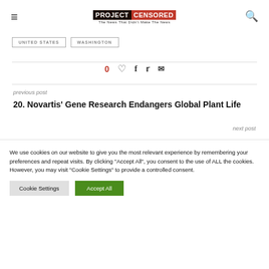PROJECT CENSORED — The News That Didn't Make The News
UNITED STATES
WASHINGTON
0 ♡ f 🐦 ✉
previous post
20. Novartis' Gene Research Endangers Global Plant Life
next post
We use cookies on our website to give you the most relevant experience by remembering your preferences and repeat visits. By clicking "Accept All", you consent to the use of ALL the cookies. However, you may visit "Cookie Settings" to provide a controlled consent.